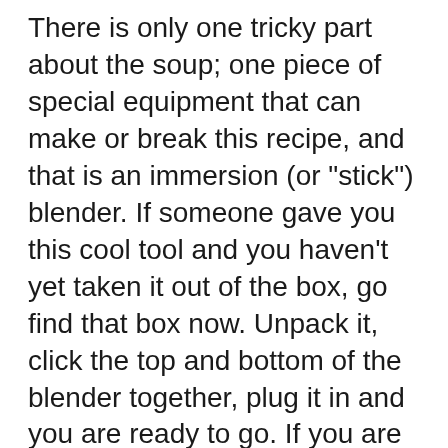There is only one tricky part about the soup; one piece of special equipment that can make or break this recipe, and that is an immersion (or "stick") blender. If someone gave you this cool tool and you haven't yet taken it out of the box, go find that box now. Unpack it, click the top and bottom of the blender together, plug it in and you are ready to go. If you are using a regular blender to puree your soup, read the following carefully:
DO NOT FILL THE BLENDER MORE THAN HALFWAY FULL!!!!
I know that all caps may seem harsh, but this is important. It will like to go the wrong...